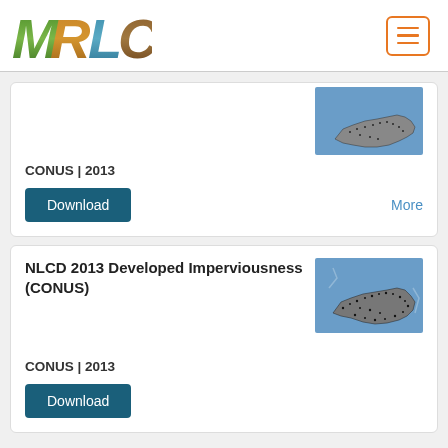MRLC
CONUS | 2013
Download
More
NLCD 2013 Developed Imperviousness (CONUS)
[Figure (map): Map of continental United States showing NLCD 2013 developed imperviousness data with black dots on blue background]
CONUS | 2013
Download